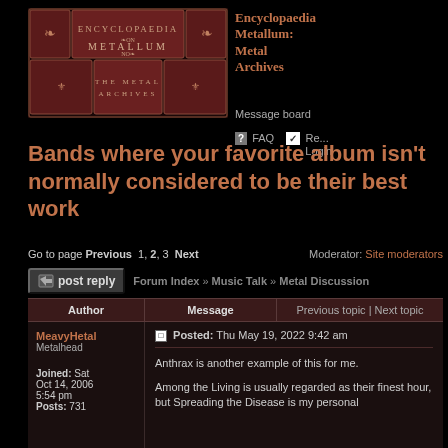[Figure (logo): Encyclopaedia Metallum: The Metal Archives logo - dark red ornate book-style banner]
Encyclopaedia Metallum: Metal Archives — Message board
FAQ  Register  Login
Bands where your favorite album isn't normally considered to be their best work
Go to page Previous 1, 2, 3 Next   Moderator: Site moderators
post reply   Forum Index » Music Talk » Metal Discussion
| Author | Message | Previous topic | Next topic |
| --- | --- | --- |
| MeavyHetal
Metalhead

Joined: Sat Oct 14, 2006 5:54 pm
Posts: 731 | Posted: Thu May 19, 2022 9:42 am

Anthrax is another example of this for me.

Among the Living is usually regarded as their finest hour, but Spreading the Disease is my personal |  |